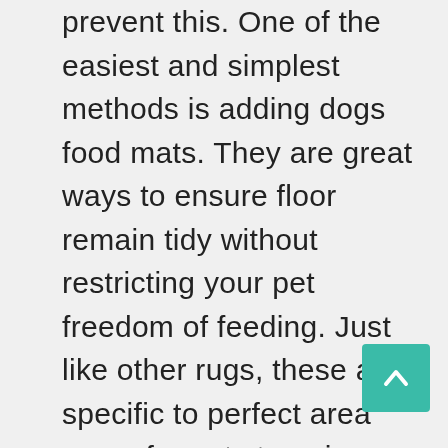prevent this. One of the easiest and simplest methods is adding dogs food mats. They are great ways to ensure floor remain tidy without restricting your pet freedom of feeding. Just like other rugs, these are specific to perfect area cover for pets to enjoy great meal times. Depending on the type of food, a mat should be able to prevent your floor from the mess. Whether its dry or fluid food, any pet mat should be able to offer the best protection.

Well, there are many instances whereby you need to provide a rag for pets. It might seem because of difficulties in feeding, age or any other conditions. For great experience when the pet is feeding, it becomes vital to ensure the mat is ideally suited to your floor. It should be slip resistant, waterproof or water absorbing among